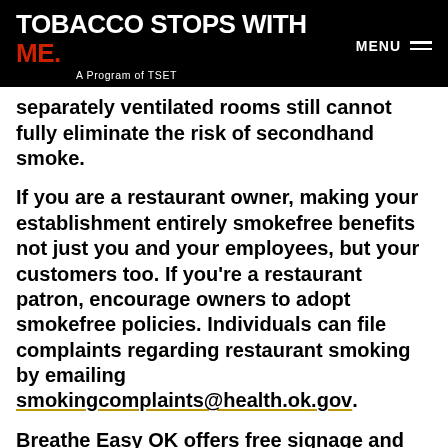TOBACCO STOPS WITH ME. A Program of TSET | MENU
separately ventilated rooms still cannot fully eliminate the risk of secondhand smoke.
If you are a restaurant owner, making your establishment entirely smokefree benefits not just you and your employees, but your customers too. If you’re a restaurant patron, encourage owners to adopt smokefree policies. Individuals can file complaints regarding restaurant smoking by emailing smokingcomplaints@health.ok.gov.
Breathe Easy OK offers free signage and other resources to help businesses enforce their tobacco-free policies.